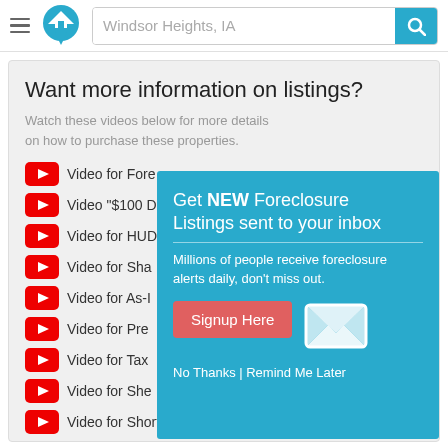Windsor Heights, IA
Want more information on listings?
Watch these videos below for more details on how to purchase these properties.
Video for Fore...
Video "$100 D...
Video for HUD...
Video for Sha...
Video for As-I...
Video for Pre...
Video for Tax...
Video for She...
Video for Short Sale homes
Video for Fixer Upper homes
[Figure (infographic): Popup overlay: Get NEW Foreclosure Listings sent to your inbox. Millions of people receive foreclosure alerts daily, don't miss out. Signup Here button. No Thanks | Remind Me Later links. Mail envelope icon.]